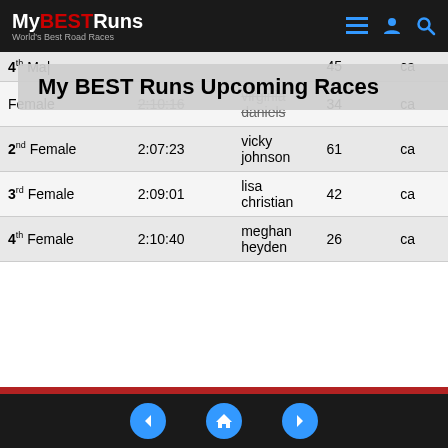MyBESTRuns — World's Best Road Races
| 4th Ma[le] | [time] | [name] | 45 | ca |
| Female | 2:10:16 | virginia daniels | 34 | ca |
| 2nd Female | 2:07:23 | vicky johnson | 61 | ca |
| 3rd Female | 2:09:01 | lisa christian | 42 | ca |
| 4th Female | 2:10:40 | meghan heyden | 26 | ca |
My BEST Runs Upcoming Races
| Division | Time | Name | Age | Home |
| --- | --- | --- | --- | --- |
| M 40-49 | 1:58:24 | Jonah Backstrom | 48 | CA |
| M 50-59 | 2:12:56 | Erik Dunmire | 54 | CA |
| M 60-69 | 2:23:29 | Sam McManis | 62 | AZ |
| M 70+ | 2:39:53 | John Banuelos | 79 | CA |
| F 40-49 | 2:09:01 | Lisa Christian | 42 | CA |
| F 50-59 | 2:11:47 | Cat Malone | 55 | CA |
| F 60-69 | 2:07:23 | Vicky Bray Johnson | 61 | CA |
Navigation: previous | home | next